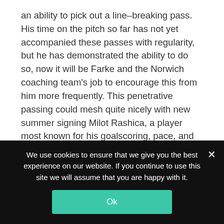an ability to pick out a line-breaking pass. His time on the pitch so far has not yet accompanied these passes with regularity, but he has demonstrated the ability to do so, now it will be Farke and the Norwich coaching team's job to encourage this from him more frequently. This penetrative passing could mesh quite nicely with new summer signing Milot Rashica, a player most known for his goalscoring, pace, and clever movement into dangerous areas in the Bundesliga.
Forecast for the future
We use cookies to ensure that we give you the best experience on our website. If you continue to use this site we will assume that you are happy with it.